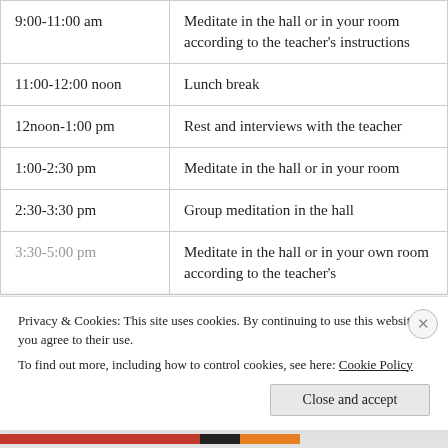| Time | Activity |
| --- | --- |
| 9:00-11:00 am | Meditate in the hall or in your room according to the teacher's instructions |
| 11:00-12:00 noon | Lunch break |
| 12noon-1:00 pm | Rest and interviews with the teacher |
| 1:00-2:30 pm | Meditate in the hall or in your room |
| 2:30-3:30 pm | Group meditation in the hall |
| 3:30-5:00 pm | Meditate in the hall or in your own room according to the teacher's… |
Privacy & Cookies: This site uses cookies. By continuing to use this website, you agree to their use. To find out more, including how to control cookies, see here: Cookie Policy